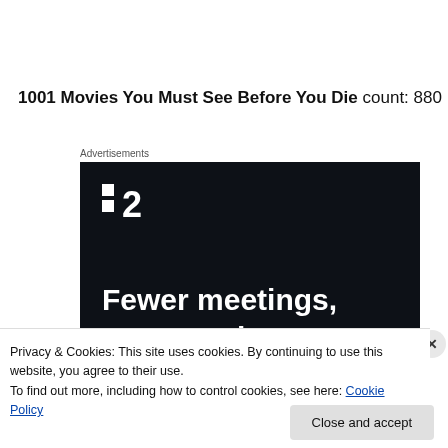1001 Movies You Must See Before You Die count: 880
Advertisements
[Figure (screenshot): Advertisement banner with dark background showing a logo with two squares and '2', and the tagline 'Fewer meetings, more work.']
Privacy & Cookies: This site uses cookies. By continuing to use this website, you agree to their use.
To find out more, including how to control cookies, see here: Cookie Policy
Close and accept